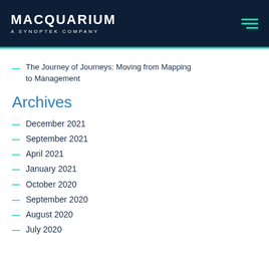MACQUARIUM A SYNOPTEK COMPANY
The Journey of Journeys: Moving from Mapping to Management
Archives
December 2021
September 2021
April 2021
January 2021
October 2020
September 2020
August 2020
July 2020